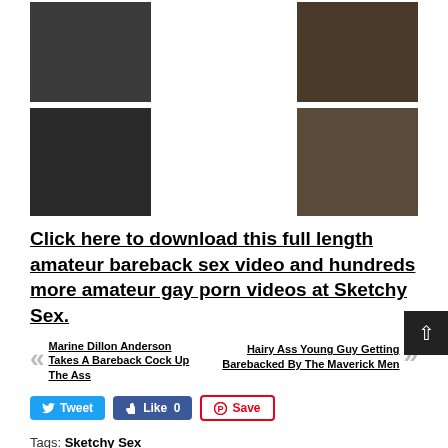[Figure (photo): Two thumbnail images of adult video content at top (partially cut off)]
[Figure (photo): Two thumbnail images of adult video content in middle row]
Click here to download this full length amateur bareback sex video and hundreds more amateur gay porn videos at Sketchy Sex.
« Marine Dillon Anderson Takes A Bareback Cock Up The Ass
Hairy Ass Young Guy Getting Barebacked By The Maverick Men »
Tweet  Like 0  Save
Tags: Sketchy Sex